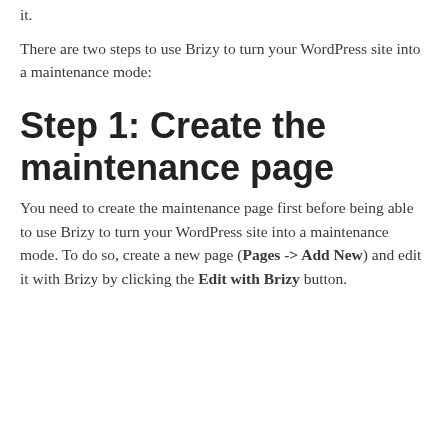it.
There are two steps to use Brizy to turn your WordPress site into a maintenance mode:
Step 1: Create the maintenance page
You need to create the maintenance page first before being able to use Brizy to turn your WordPress site into a maintenance mode. To do so, create a new page (Pages -> Add New) and edit it with Brizy by clicking the Edit with Brizy button.